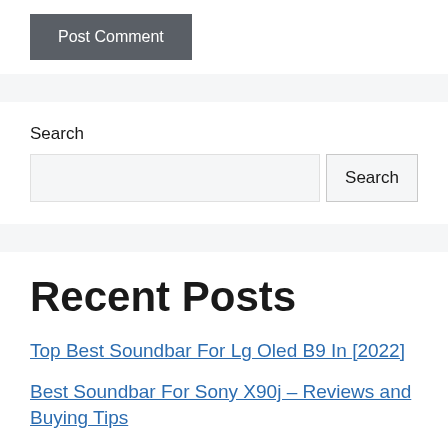Post Comment
Search
Recent Posts
Top Best Soundbar For Lg Oled B9 In [2022]
Best Soundbar For Sony X90j – Reviews and Buying Tips